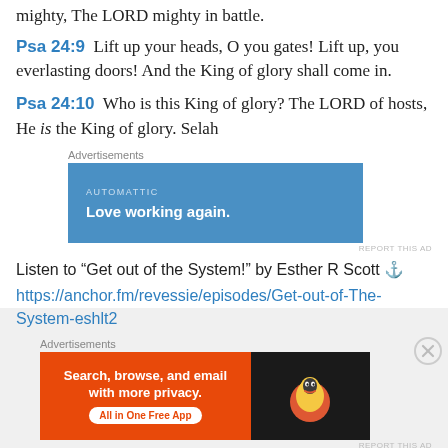mighty, The LORD mighty in battle.
Psa 24:9  Lift up your heads, O you gates! Lift up, you everlasting doors! And the King of glory shall come in.
Psa 24:10  Who is this King of glory? The LORD of hosts, He is the King of glory. Selah
[Figure (other): Automattic advertisement banner: blue background with 'AUTOMATTIC' in small caps and 'Love working again.' in white bold text]
Listen to “Get out of the System!” by Esther R Scott ⚓ https://anchor.fm/revessie/episodes/Get-out-of-The-System-eshlt2
[Figure (other): DuckDuckGo advertisement: orange left panel with 'Search, browse, and email with more privacy. All in One Free App' and dark right panel with DuckDuckGo logo]